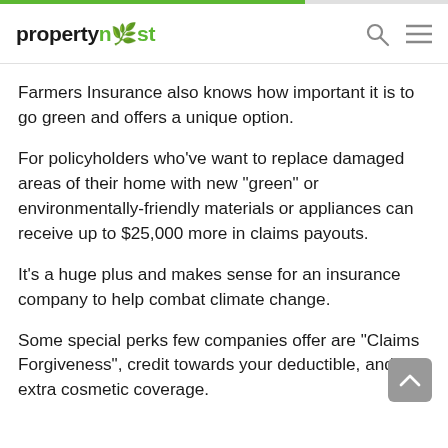propertynest
Farmers Insurance also knows how important it is to go green and offers a unique option.
For policyholders who've want to replace damaged areas of their home with new "green" or environmentally-friendly materials or appliances can receive up to $25,000 more in claims payouts.
It's a huge plus and makes sense for an insurance company to help combat climate change.
Some special perks few companies offer are "Claims Forgiveness", credit towards your deductible, and extra cosmetic coverage.